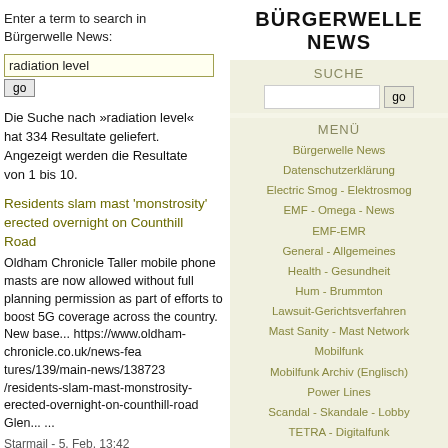Enter a term to search in Bürgerwelle News:
radiation level
go
Die Suche nach »radiation level« hat 334 Resultate geliefert. Angezeigt werden die Resultate von 1 bis 10.
Residents slam mast 'monstrosity' erected overnight on Counthill Road
Oldham Chronicle Taller mobile phone masts are now allowed without full planning permission as part of efforts to boost 5G coverage across the country. New base... https://www.oldham-chronicle.co.uk/news-features/139/main-news/138723/residents-slam-mast-monstrosity-erected-overnight-on-counthill-road Glen... ...
Starmail - 5. Feb, 13:42
5G and its small cell towers
BÜRGERWELLE NEWS
SUCHE
MENÜ
Bürgerwelle News
Datenschutzerklärung
Electric Smog - Elektrosmog
EMF - Omega - News
EMF-EMR
General - Allgemeines
Health - Gesundheit
Hum - Brummton
Lawsuit-Gerichtsverfahren
Mast Sanity - Mast Network
Mobilfunk
Mobilfunk Archiv (Englisch)
Power Lines
Scandal - Skandale - Lobby
TETRA - Digitalfunk
Victims - Opfer
Wissenschaft zu Mobilfunk
Twoday@Bürgerwelle
AKTUELLE BEITRÄGE
Over 40% of planning... Irish Examiner More than 40% of